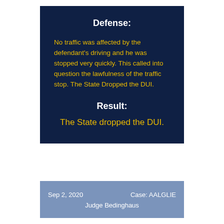Defense:
No traffic was affected by the defendant's driving and he was stopped very quickly. This called into question the lawfulness of the traffic stop. The State Dropped the DUI.
Result:
The State dropped the DUI.
Sep 2, 2020    Case: AALGLIE
Judge Bedinghaus